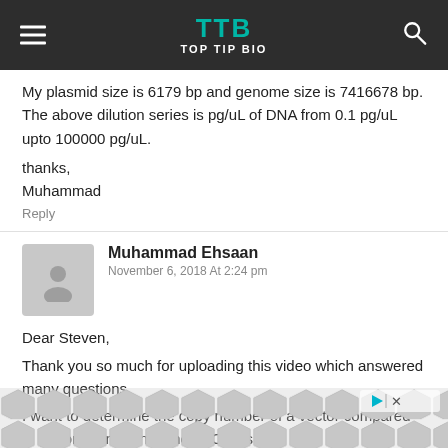TTB TOP TIP BIO
My plasmid size is 6179 bp and genome size is 7416678 bp. The above dilution series is pg/uL of DNA from 0.1 pg/uL upto 100000 pg/uL.
thanks,
Muhammad
Reply
Muhammad Ehsaan
November 6, 2018 At 2:24 pm
Dear Steven,
Thank you so much for uploading this video which answered many questions.
I want to determine the copy number of a vector compared to genome and run some qPCR as
[Figure (other): Advertisement banner with geometric hexagon tile pattern in grey tones, with play and close icons in top right.]